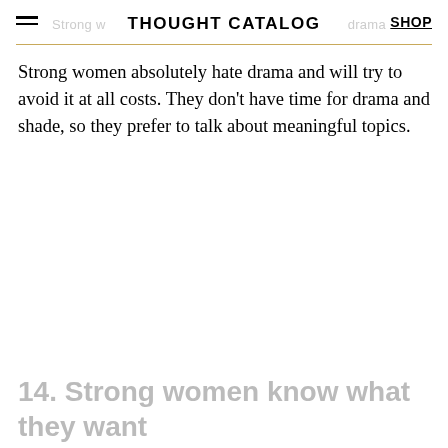THOUGHT CATALOG  SHOP
Strong women absolutely hate drama and will try to avoid it at all costs. They don't have time for drama and shade, so they prefer to talk about meaningful topics.
14. Strong women know what they want